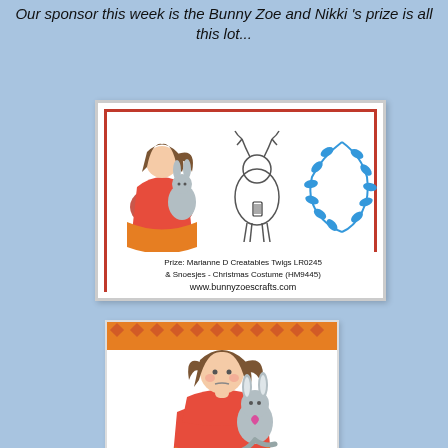Our sponsor this week is the Bunny Zoe and Nikki 's prize is all this lot...
[Figure (illustration): Bunny Zoe crafts sponsor card with illustrations of a girl with bunny, reindeer character, blue leaf/heart design. Text reads: Prize: Marianne D Creatables Twigs LR0245 & Snoesjes - Christmas Costume (HM9445) www.bunnyzoescrafts.com]
[Figure (illustration): Close-up illustration of a girl with bunny ears/costume in orange and grey colors, on a white background with orange patterned banner at top]